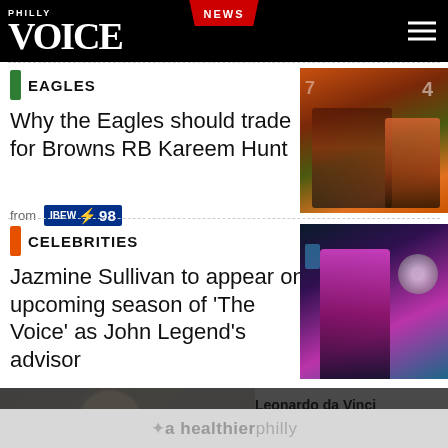Philly Voice — NEWS
EAGLES
Why the Eagles should trade for Browns RB Kareem Hunt
from IBEW 98
[Figure (photo): Football players in action, Browns RB Kareem Hunt]
CELEBRITIES
Jazmine Sullivan to appear on upcoming season of 'The Voice' as John Legend's advisor
[Figure (photo): Jazmine Sullivan performing, wearing pink outfit]
[Figure (screenshot): Video player with error overlay: The media could not be loaded, either because the server or network failed or because the format is not supported. Background shows Mona Lisa image. Side text: Leonardo da Vinci May Have Been Behind Nude Mona Lisa]
a healthier philly